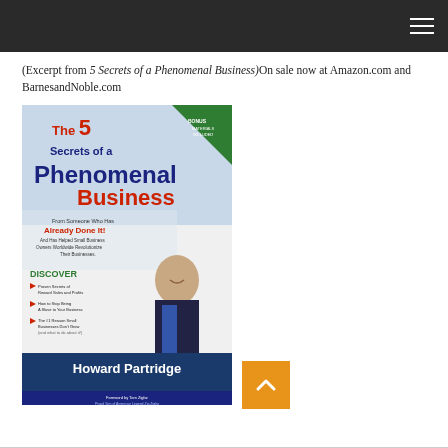Navigation header bar with hamburger menu
(Excerpt from 5 Secrets of a Phenomenal Business)On sale now at Amazon.com and BarnesandNoble.com
[Figure (photo): Book cover of 'The 5 Secrets of a Phenomenal Business' by Howard Partridge, with foreword by Tom Ziglar. Cover features large text, arrows listing discover points, and photo of Howard Partridge in a suit.]